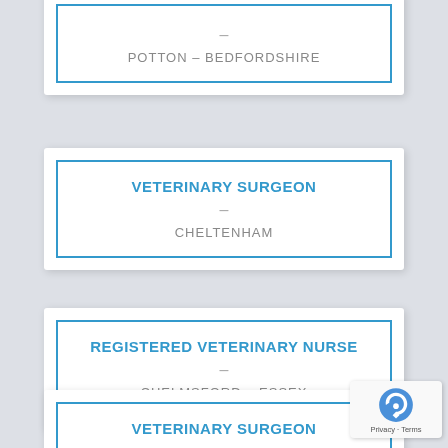– POTTON – BEDFORDSHIRE
VETERINARY SURGEON
– CHELTENHAM
REGISTERED VETERINARY NURSE
– CHELMSFORD – ESSEX
VETERINARY SURGEON